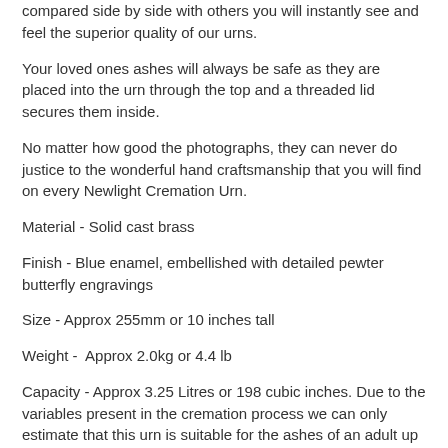compared side by side with others you will instantly see and feel the superior quality of our urns.
Your loved ones ashes will always be safe as they are placed into the urn through the top and a threaded lid secures them inside.
No matter how good the photographs, they can never do justice to the wonderful hand craftsmanship that you will find on every Newlight Cremation Urn.
Material - Solid cast brass
Finish - Blue enamel, embellished with detailed pewter butterfly engravings
Size - Approx 255mm or 10 inches tall
Weight -  Approx 2.0kg or 4.4 lb
Capacity - Approx 3.25 Litres or 198 cubic inches. Due to the variables present in the cremation process we can only estimate that this urn is suitable for the ashes of an adult up to approx 15 Stone
FREE SHIPPING TO UK ADDRESSES!